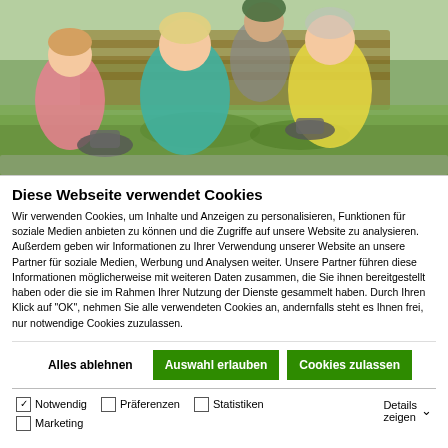[Figure (photo): Children and elderly man outdoors grinding with mortars and pestles on a wooden surface with greenery]
Diese Webseite verwendet Cookies
Wir verwenden Cookies, um Inhalte und Anzeigen zu personalisieren, Funktionen für soziale Medien anbieten zu können und die Zugriffe auf unsere Website zu analysieren. Außerdem geben wir Informationen zu Ihrer Verwendung unserer Website an unsere Partner für soziale Medien, Werbung und Analysen weiter. Unsere Partner führen diese Informationen möglicherweise mit weiteren Daten zusammen, die Sie ihnen bereitgestellt haben oder die sie im Rahmen Ihrer Nutzung der Dienste gesammelt haben. Durch Ihren Klick auf "OK", nehmen Sie alle verwendeten Cookies an, andernfalls steht es Ihnen frei, nur notwendige Cookies zuzulassen.
Alles ablehnen | Auswahl erlauben | Cookies zulassen
Notwendig  Präferenzen  Statistiken  Marketing  Details zeigen